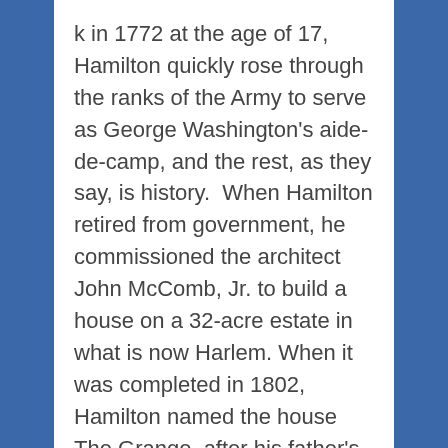k in 1772 at the age of 17, Hamilton quickly rose through the ranks of the Army to serve as George Washington's aide-de-camp, and the rest, as they say, is history.  When Hamilton retired from government, he commissioned the architect John McComb, Jr. to build a house on a 32-acre estate in what is now Harlem. When it was completed in 1802, Hamilton named the house The Grange, after his father's ancestral home in Scotland. The Grange is believed to have been the only house Hamilton ever owned, and is one of the earliest examples of federal-style architecture. Unfortunately, he only got to enjoy it for two years before being shot in the infamous dual with Aaron Burr. The house